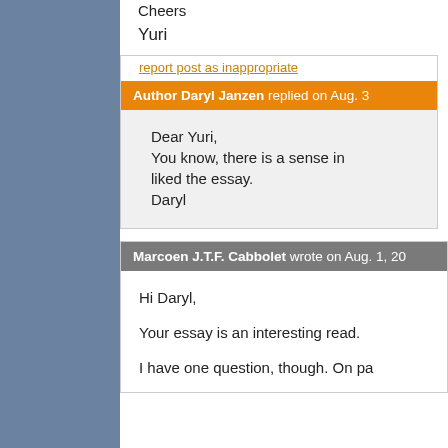Cheers
Yuri
report post as inappropriate
Author Daryl Janzen replied on Aug. 3
Dear Yuri,
You know, there is a sense in liked the essay.
Daryl
Marcoen J.T.F. Cabbolet wrote on Aug. 1, 20
Hi Daryl,
Your essay is an interesting read.
I have one question, though. On pa